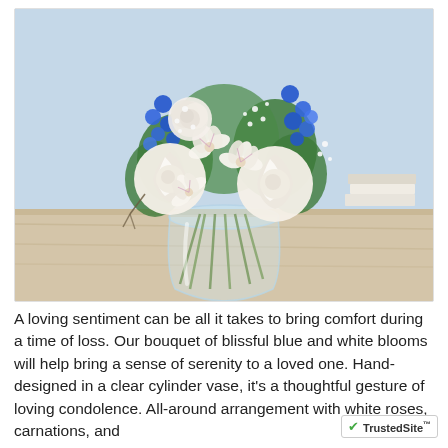[Figure (photo): A floral arrangement in a clear glass cylinder vase featuring white roses, white carnations, white alstroemeria, blue delphinium, and baby's breath with green foliage, placed on a light wooden surface with a soft blue background.]
A loving sentiment can be all it takes to bring comfort during a time of loss. Our bouquet of blissful blue and white blooms will help bring a sense of serenity to a loved one. Hand-designed in a clear cylinder vase, it's a thoughtful gesture of loving condolence. All-around arrangement with white roses, carnations, and lilies (alstroemeria), blue delphinium, and baby's breath